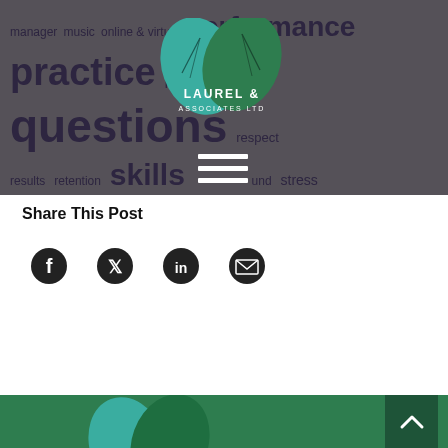[Figure (infographic): Tag cloud on dark gray background with words: manager, music, online & virtual, performance, practice, presentations, questions, respect, results, retention, skills, sound, stress, success, team, technology, the brain, thinking, time, touch, trainers, train the trainer, travel, video. Overlaid with Laurel & Associates Ltd logo (green leaves) and hamburger menu icon.]
Share This Post
[Figure (infographic): Share icons: Facebook, Twitter, LinkedIn, Email (envelope)]
[Figure (infographic): Green footer bar with back-to-top button (upward chevron) and partial Laurel & Associates Ltd leaf logo]